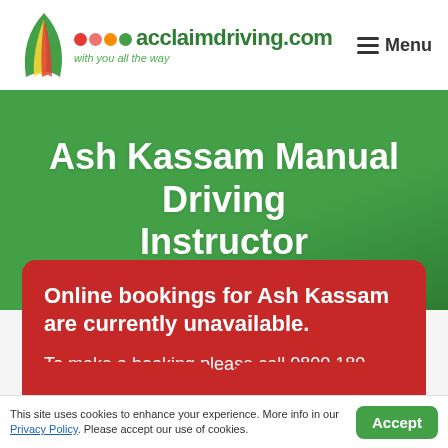acclaimdriving.com — with you all the way | Menu
Ash Kassam Manual Driving Instructor
Online bookings for Ash Kassam are currently unavailable.

To make a booking please call 0800 180 4240.
This site uses cookies to enhance your experience. More info in our Privacy Policy. Please accept our use of cookies.